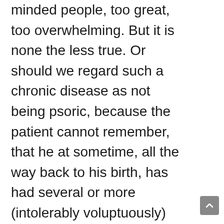minded people, too great, too overwhelming. But it is none the less true. Or should we regard such a chronic disease as not being psoric, because the patient cannot remember, that he at sometime, all the way back to his birth, has had several or more (intolerably voluptuously) itching pustules of itch on his skin, or (since the itch-disease is considered as something disgraceful) is not willing to acknowledge it? His non-acknowledgment here proves nothing to the contrary